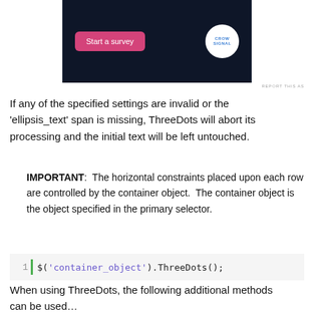[Figure (screenshot): Dark navy background with a pink 'Start a survey' button and CrowdSignal logo on the right.]
REPORT THIS AS
If any of the specified settings are invalid or the 'ellipsis_text' span is missing, ThreeDots will abort its processing and the initial text will be left untouched.
IMPORTANT:  The horizontal constraints placed upon each row are controlled by the container object.  The container object is the object specified in the primary selector.
1  $('container_object').ThreeDots();
When using ThreeDots, the following additional methods can be used...